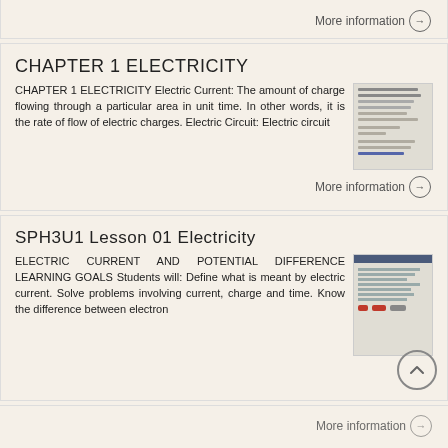More information →
CHAPTER 1 ELECTRICITY
CHAPTER 1 ELECTRICITY Electric Current: The amount of charge flowing through a particular area in unit time. In other words, it is the rate of flow of electric charges. Electric Circuit: Electric circuit
More information →
SPH3U1 Lesson 01 Electricity
ELECTRIC CURRENT AND POTENTIAL DIFFERENCE LEARNING GOALS Students will: Define what is meant by electric current. Solve problems involving current, charge and time. Know the difference between electron
More information →